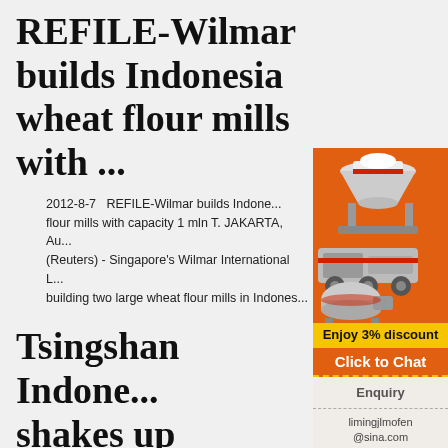REFILE-Wilmar builds Indonesia wheat flour mills with ...
2012-8-7   REFILE-Wilmar builds Indonesia wheat flour mills with capacity 1 mln T. JAKARTA, Au... (Reuters) - Singapore's Wilmar International L... building two large wheat flour mills in Indones...
Tsingshan Indonesia shakes up stainless steel markets in ...
2019-7-15   Tsingshan's stainless complex in
[Figure (illustration): Advertisement panel with orange background showing industrial machinery (crushers/mills), a yellow 'Enjoy 3% discount' banner, orange 'Click to Chat' button, 'Enquiry' section, and email limingjlmofen@sina.com]